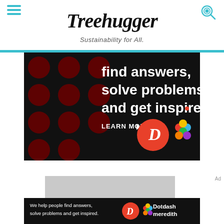Treehugger — Sustainability for All.
[Figure (screenshot): Advertisement banner: dark background with large red polka-dot pattern. Text reads 'find answers, solve problems and get inspired.' with 'LEARN MORE' button and Dotdash Meredith logos on right.]
[Figure (screenshot): Gray placeholder advertisement box below main banner.]
[Figure (screenshot): Bottom advertisement strip: 'We help people find answers, solve problems and get inspired.' with Dotdash Meredith branding on black background.]
Ad